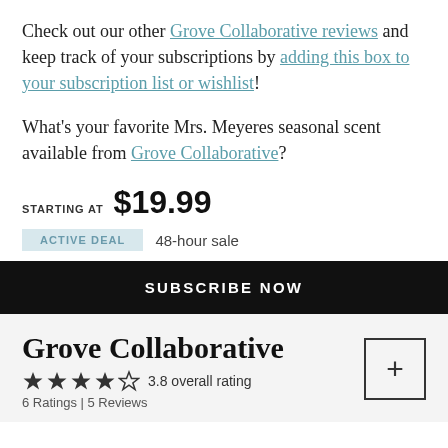Check out our other Grove Collaborative reviews and keep track of your subscriptions by adding this box to your subscription list or wishlist!
What's your favorite Mrs. Meyeres seasonal scent available from Grove Collaborative?
STARTING AT $19.99
ACTIVE DEAL  48-hour sale
SUBSCRIBE NOW
Grove Collaborative
3.8 overall rating
6 Ratings | 5 Reviews